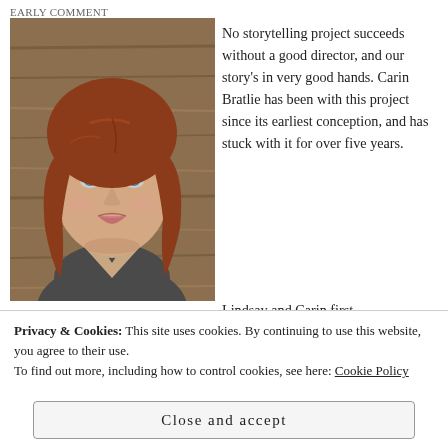EARLY COMMENT
[Figure (photo): Headshot of a woman with auburn/red hair wearing a dark grey top, photographed against a wooden background. She is looking slightly to the side with a neutral expression.]
No storytelling project succeeds without a good director, and our story's in very good hands. Carin Bratlie has been with this project since its earliest conception, and has stuck with it for over five years.
Lindsay and Carin first
Privacy & Cookies: This site uses cookies. By continuing to use this website, you agree to their use.
To find out more, including how to control cookies, see here: Cookie Policy
Close and accept
ancient myths. Jaycee's determination to make a space